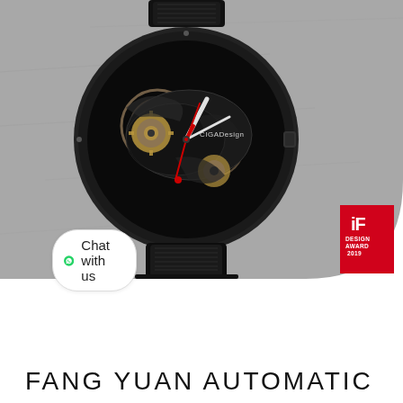[Figure (photo): Product photo of CIGA Design skeleton automatic watch (Fang Yuan) with black case, black leather strap, visible mechanical movement, red hands, on grey stone background. iF Design Award 2019 badge shown in bottom right corner over white arc.]
Chat with us
FANG YUAN AUTOMATIC